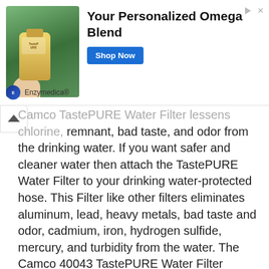[Figure (infographic): Advertisement banner for Enzymedica personalized omega blend supplement. Shows a bottle held by a hand against a green plant background. Contains 'Your Personalized Omega Blend' headline, 'Shop Now' blue button, and Enzymedica brand logo.]
Camco TastePURE Water Filter lessens chlorine, remnant, bad taste, and odor from the drinking water. If you want safer and cleaner water then attach the TastePURE Water Filter to your drinking water-protected hose. This Filter like other filters eliminates aluminum, lead, heavy metals, bad taste and odor, cadmium, iron, hydrogen sulfide, mercury, and turbidity from the water. The Camco 40043 TastePURE Water Filter connects to any basic garden hose or water hose connection.